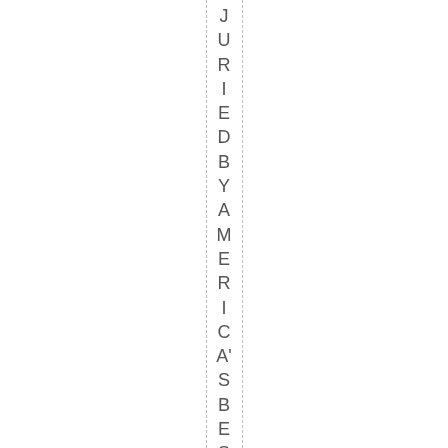JURIED BY AMERICA'S BEST GALLE